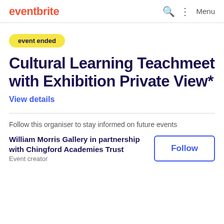eventbrite
event ended
Cultural Learning Teachmeet with Exhibition Private View*
View details
Follow this organiser to stay informed on future events
William Morris Gallery in partnership with Chingford Academies Trust
Event creator
Follow